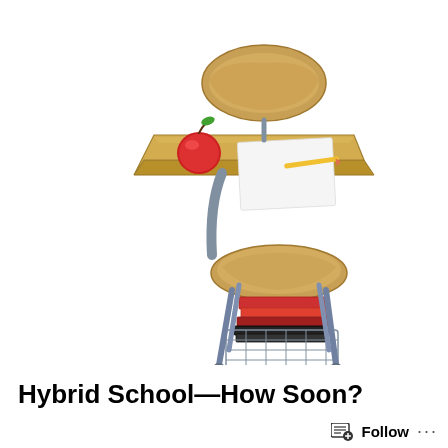[Figure (illustration): A classic school student desk with attached chair, made of light wood and grey metal legs. A red apple sits on the desk surface along with a blank notepad and pencil. Books are stored in the wire basket underneath the seat.]
Hybrid School—How Soon?